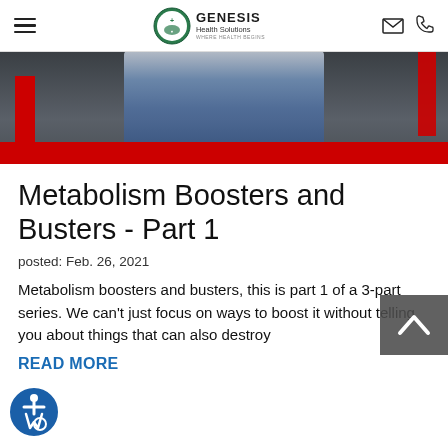Genesis Health Solutions — navigation header with hamburger menu, logo, email and phone icons
[Figure (photo): Hero banner image showing lower torso of a person in jeans and white shirt, with red accent bar at bottom left]
Metabolism Boosters and Busters - Part 1
posted: Feb. 26, 2021
Metabolism boosters and busters, this is part 1 of a 3-part series. We can't just focus on ways to boost it without telling you about things that can also destroy
READ MORE